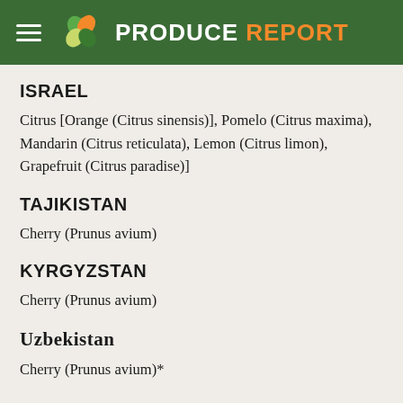PRODUCE REPORT
ISRAEL
Citrus [Orange (Citrus sinensis)], Pomelo (Citrus maxima), Mandarin (Citrus reticulata), Lemon (Citrus limon), Grapefruit (Citrus paradise)]
TAJIKISTAN
Cherry (Prunus avium)
KYRGYZSTAN
Cherry (Prunus avium)
Uzbekistan
Cherry (Prunus avium)*